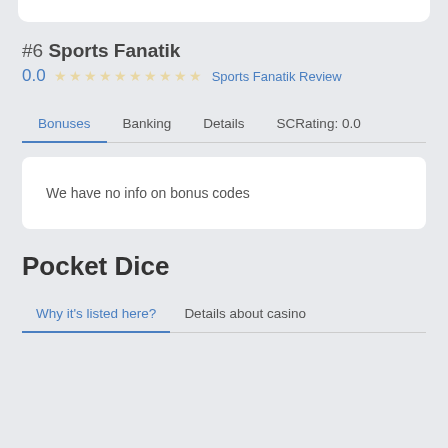#6 Sports Fanatik
0.0  ☆☆☆☆☆☆☆☆☆☆  Sports Fanatik Review
Bonuses  Banking  Details  SCRating: 0.0
We have no info on bonus codes
Pocket Dice
Why it's listed here?  Details about casino